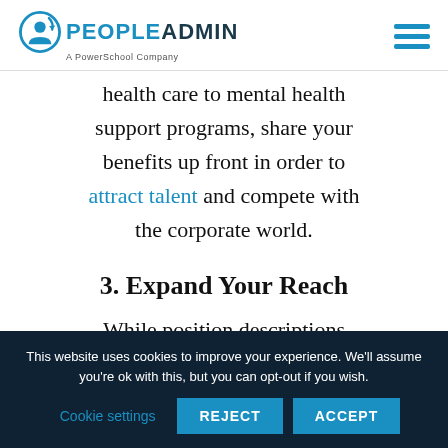PeopleAdmin - A PowerSchool Company
health care to mental health support programs, share your benefits up front in order to attract talent and compete with the corporate world.
3. Expand Your Reach
While position descriptions can deter or entice a candidate
This website uses cookies to improve your experience. We'll assume you're ok with this, but you can opt-out if you wish.
Cookie settings | REJECT | ACCEPT